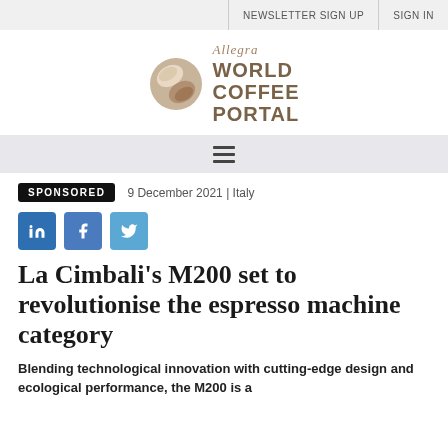NEWSLETTER SIGN UP   SIGN IN
[Figure (logo): Allegra World Coffee Portal logo with coffee bean icon and stylized text]
[Figure (infographic): Hamburger menu icon (three horizontal lines)]
SPONSORED   9 December 2021 | Italy
[Figure (infographic): Social media share buttons: LinkedIn, Facebook, Twitter]
La Cimbali’s M200 set to revolutionise the espresso machine category
Blending technological innovation with cutting-edge design and ecological performance, the M200 is a